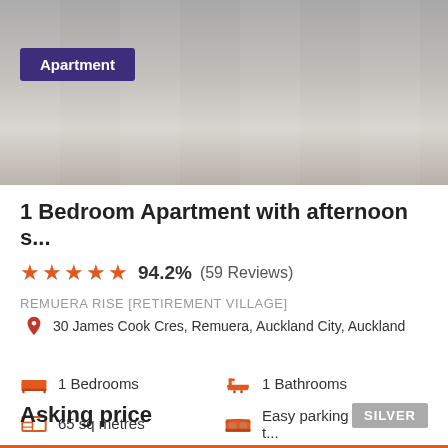[Figure (photo): Kitchen interior photo showing white cabinets, countertops and appliances]
Apartment
1 Bedroom Apartment with afternoon s...
★★★★★ 94.2%  (59 Reviews)
REMUERA RISE [RETIREMENT VILLAGE]
30 James Cook Cres, Remuera, Auckland City, Auckland
1 Bedrooms
1 Bathrooms
65 sq metres
Easy parking opposite t...
Asking price
SILVER